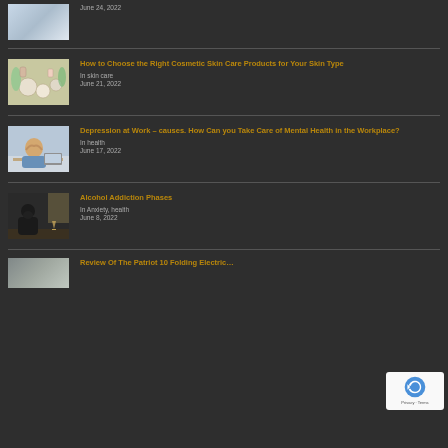[Figure (photo): Partial thumbnail of an article, person with hands visible, medical/health theme. Date: June 24, 2022]
June 24, 2022
[Figure (photo): Cosmetic skin care products laid out including jars, creams, and green leaves]
How to Choose the Right Cosmetic Skin Care Products for Your Skin Type
In skin care
June 21, 2022
[Figure (photo): Man sitting at desk with head in hands, appearing stressed or depressed, workplace setting]
Depression at Work – causes. How Can you Take Care of Mental Health in the Workplace?
In health
June 17, 2022
[Figure (photo): Person sitting alone at a table with a drink, dark moody lighting suggesting alcohol use]
Alcohol Addiction Phases
In Anxiety, health
June 8, 2022
[Figure (photo): Partial thumbnail of review article]
Review Of The Patriot 10 Folding Electric…